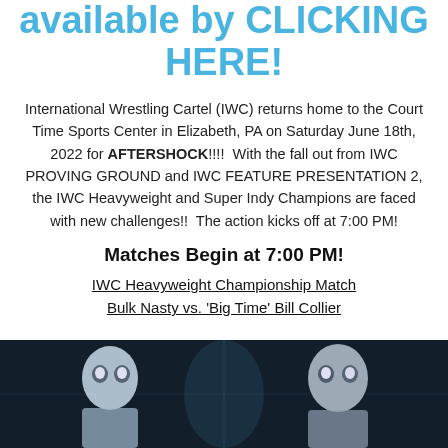available by CLICKING HERE!
International Wrestling Cartel (IWC) returns home to the Court Time Sports Center in Elizabeth, PA on Saturday June 18th, 2022 for AFTERSHOCK!!!!  With the fall out from IWC PROVING GROUND and IWC FEATURE PRESENTATION 2, the IWC Heavyweight and Super Indy Champions are faced with new challenges!!  The action kicks off at 7:00 PM!
Matches Begin at 7:00 PM!
IWC Heavyweight Championship Match
Bulk Nasty vs. 'Big Time' Bill Collier
[Figure (photo): Two wrestlers facing each other with dramatic lighting on a dark background]